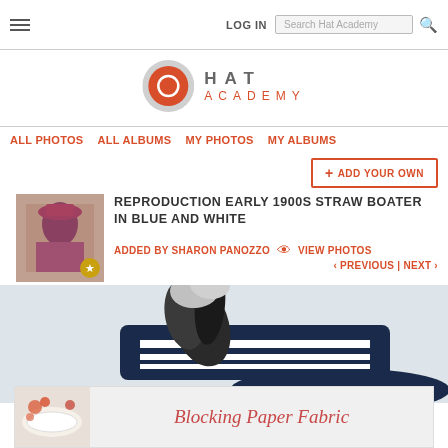LOG IN  Search Hat Academy
[Figure (logo): Hat Academy logo with red circle and text HAT ACADEMY]
ALL PHOTOS  ALL ALBUMS  MY PHOTOS  MY ALBUMS
+ ADD YOUR OWN
REPRODUCTION EARLY 1900S STRAW BOATER IN BLUE AND WHITE
ADDED BY SHARON PANOZZO  VIEW PHOTOS
‹ PREVIOUS | NEXT ›
[Figure (photo): Blue and white striped straw boater hat with dark feather decoration, side view]
[Figure (photo): Advertisement banner: Blocking Paper Fabric with hat brim image]